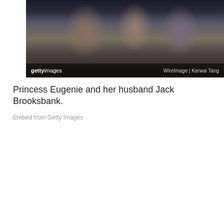[Figure (photo): People in a car viewed through windshield, Getty Images / WireImage | Karwai Tang watermark]
Princess Eugenie and her husband Jack Brooksbank.
Embed from Getty Images
[Figure (photo): Princess Eugenie in red dress and Jack Brooksbank sitting in a car, viewed through windshield]